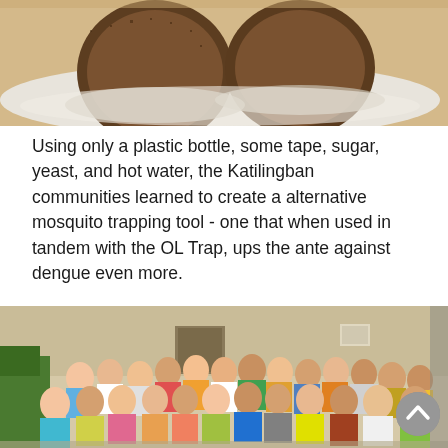[Figure (photo): Close-up photo of two plastic bottles filled with brown granular substance (likely yeast and sugar mixture for mosquito trap) on a white surface.]
Using only a plastic bottle, some tape, sugar, yeast, and hot water, the Katilingban communities learned to create a alternative mosquito trapping tool - one that when used in tandem with the OL Trap, ups the ante against dengue even more.
[Figure (photo): Group photo of approximately 30 community members standing together in front of a building, many holding mosquito traps. The group includes women and men of diverse ages and wearing colorful clothing.]